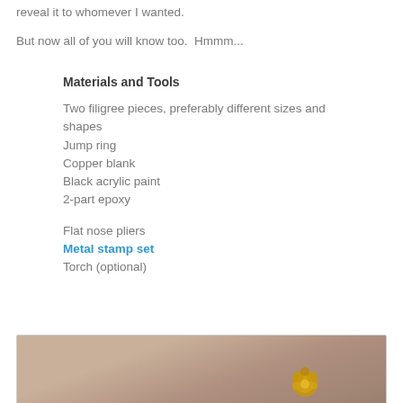reveal it to whomever I wanted.
But now all of you will know too.  Hmmm...
Materials and Tools
Two filigree pieces, preferably different sizes and shapes
Jump ring
Copper blank
Black acrylic paint
2-part epoxy
Flat nose pliers
Metal stamp set
Torch (optional)
[Figure (photo): Close-up photo of golden/brass filigree jewelry piece on a muted beige/gray background]